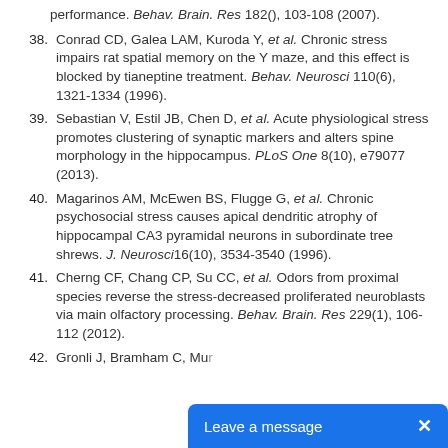performance. Behav. Brain. Res 182(), 103-108 (2007).
38. Conrad CD, Galea LAM, Kuroda Y, et al. Chronic stress impairs rat spatial memory on the Y maze, and this effect is blocked by tianeptine treatment. Behav. Neurosci 110(6), 1321-1334 (1996).
39. Sebastian V, Estil JB, Chen D, et al. Acute physiological stress promotes clustering of synaptic markers and alters spine morphology in the hippocampus. PLoS One 8(10), e79077 (2013).
40. Magarinos AM, McEwen BS, Flugge G, et al. Chronic psychosocial stress causes apical dendritic atrophy of hippocampal CA3 pyramidal neurons in subordinate tree shrews. J. Neurosci 16(10), 3534-3540 (1996).
41. Cherng CF, Chang CP, Su CC, et al. Odors from proximal species reverse the stress-decreased proliferated neuroblasts via main olfactory processing. Behav. Brain. Res 229(1), 106-112 (2012).
42. Gronli J, Bramham C, Mur... (truncated)